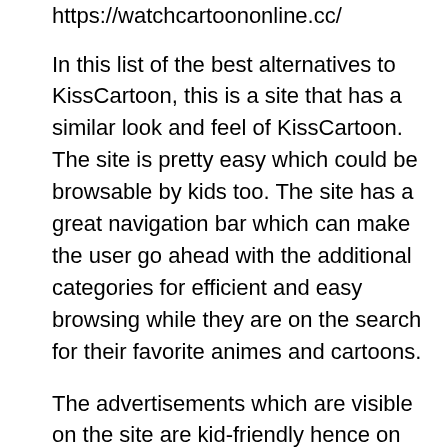https://watchcartoononline.cc/
In this list of the best alternatives to KissCartoon, this is a site that has a similar look and feel of KissCartoon. The site is pretty easy which could be browsable by kids too. The site has a great navigation bar which can make the user go ahead with the additional categories for efficient and easy browsing while they are on the search for their favorite animes and cartoons.
The advertisements which are visible on the site are kid-friendly hence on the website the environment offered is quite safe for the kids while they enjoy their favorite animes and cartoons.
Website: https://watchcartoononline.cc/